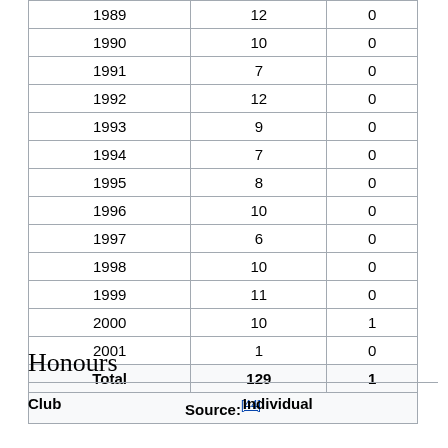| Year | Apps | Goals |
| --- | --- | --- |
| 1989 | 12 | 0 |
| 1990 | 10 | 0 |
| 1991 | 7 | 0 |
| 1992 | 12 | 0 |
| 1993 | 9 | 0 |
| 1994 | 7 | 0 |
| 1995 | 8 | 0 |
| 1996 | 10 | 0 |
| 1997 | 6 | 0 |
| 1998 | 10 | 0 |
| 1999 | 11 | 0 |
| 2000 | 10 | 1 |
| 2001 | 1 | 0 |
| Total | 129 | 1 |
| Source:[44] |  |  |
Honours
Club
Individual